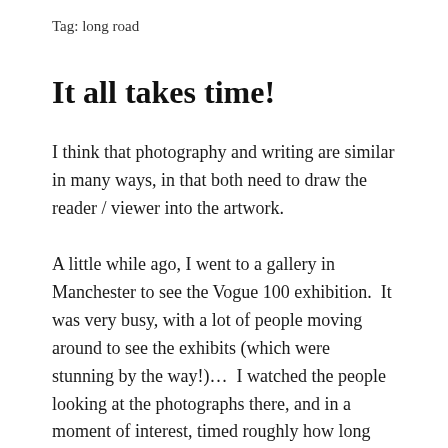Tag: long road
It all takes time!
I think that photography and writing are similar in many ways, in that both need to draw the reader / viewer into the artwork.
A little while ago, I went to a gallery in Manchester to see the Vogue 100 exhibition.  It was very busy, with a lot of people moving around to see the exhibits (which were stunning by the way!)…  I watched the people looking at the photographs there, and in a moment of interest, timed roughly how long